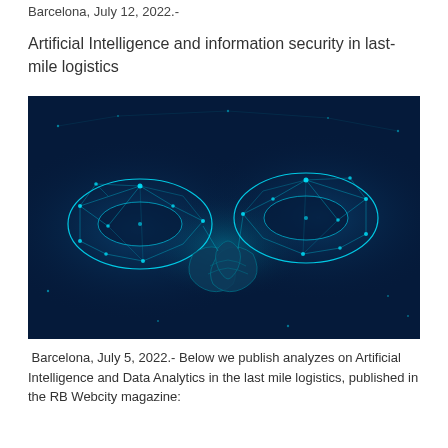Barcelona, July 12, 2022.-
Artificial Intelligence and information security in last-mile logistics
[Figure (photo): Digital blockchain illustration showing two chain links on left and right with a handshake in the center, rendered as a glowing blue network/polygon wireframe on a dark navy background.]
Barcelona, July 5, 2022.- Below we publish analyzes on Artificial Intelligence and Data Analytics in the last mile logistics, published in the RB Webcity magazine: